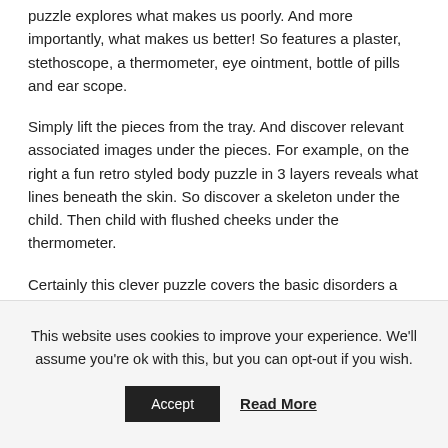puzzle explores what makes us poorly. And more importantly, what makes us better! So features a plaster, stethoscope, a thermometer, eye ointment, bottle of pills and ear scope.
Simply lift the pieces from the tray. And discover relevant associated images under the pieces. For example, on the right a fun retro styled body puzzle in 3 layers reveals what lines beneath the skin. So discover a skeleton under the child. Then child with flushed cheeks under the thermometer.
Certainly this clever puzzle covers the basic disorders a child might experience. As young ones become totally absorbed by the images on this wooden puzzle, they learn what hurts and
This website uses cookies to improve your experience. We'll assume you're ok with this, but you can opt-out if you wish.